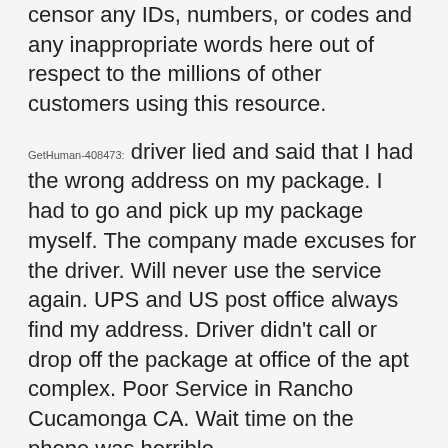censor any IDs, numbers, or codes and any inappropriate words here out of respect to the millions of other customers using this resource.
GetHuman-408473: driver lied and said that I had the wrong address on my package. I had to go and pick up my package myself. The company made excuses for the driver. Will never use the service again. UPS and US post office always find my address. Driver didn't call or drop off the package at office of the apt complex. Poor Service in Rancho Cucamonga CA. Wait time on the phone was horrible
GetHuman: Let's quantify your experience contacting FedEx. On a scale of 1 to 5, how easy is it go get help on a FedEx problem?
GetHuman-408473: I'd give them a five out of five for ease of finding your way to help.
GetHuman: What about quality of communication. How